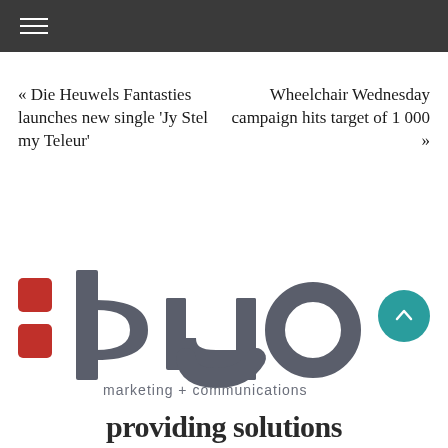Navigation menu (hamburger icon)
« Die Heuwels Fantasties launches new single ‘Jy Stel my Teleur’
Wheelchair Wednesday campaign hits target of 1 000 »
[Figure (logo): :duo marketing + communications logo — two red squares on the left, 'duo' in large grey rounded letters, 'marketing + communications' in smaller grey text below]
providing solutions